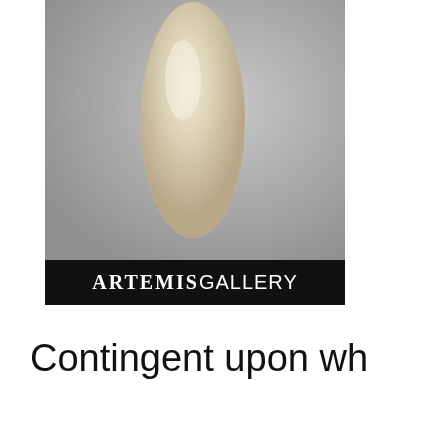[Figure (photo): A close-up photograph of a pale beige/cream colored stone or artifact (possibly a tool or bead) against a grey background, with a black banner at the bottom reading 'ARTEMISGALLERY' in white text.]
Contingent upon wh